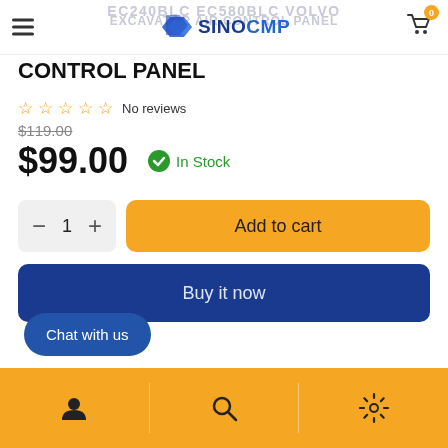EC240BLC EC580BLC VOLVO EXCAVATOR AIR CONTROL PANEL
CONTROL PANEL
No reviews
$119.00
$99.00  In Stock
- 1 +  Add to cart
Buy it now
Chat with us